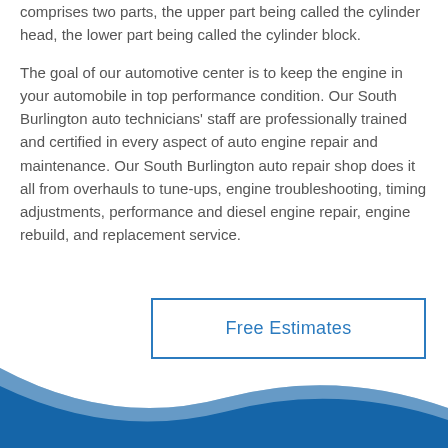comprises two parts, the upper part being called the cylinder head, the lower part being called the cylinder block.
The goal of our automotive center is to keep the engine in your automobile in top performance condition. Our South Burlington auto technicians' staff are professionally trained and certified in every aspect of auto engine repair and maintenance. Our South Burlington auto repair shop does it all from overhauls to tune-ups, engine troubleshooting, timing adjustments, performance and diesel engine repair, engine rebuild, and replacement service.
Free Estimates
[Figure (illustration): Blue wave decorative footer graphic with a curved white highlight wave on top of a solid blue background]